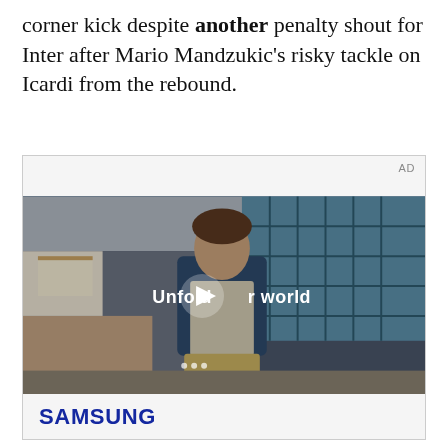corner kick despite another penalty shout for Inter after Mario Mandzukic's risky tackle on Icardi from the rebound.
[Figure (screenshot): Advertisement video player showing a young man in a denim jacket standing in a cafeteria-style room with teal tiled windows. Text overlay reads 'Unfold your world' with a play button icon. Below the video is a Samsung logo in blue.]